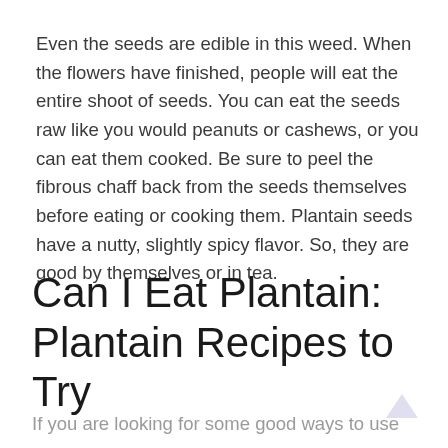Even the seeds are edible in this weed. When the flowers have finished, people will eat the entire shoot of seeds. You can eat the seeds raw like you would peanuts or cashews, or you can eat them cooked. Be sure to peel the fibrous chaff back from the seeds themselves before eating or cooking them. Plantain seeds have a nutty, slightly spicy flavor. So, they are good by themselves or in tea.
Can I Eat Plantain: Plantain Recipes to Try
If you are looking for some good ways to use